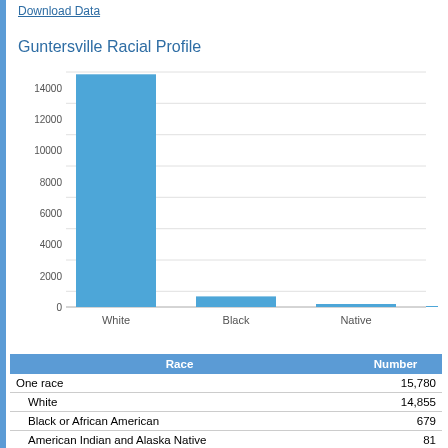Download Data
Guntersville Racial Profile
[Figure (bar-chart): Guntersville Racial Profile]
| Race | Number |
| --- | --- |
| One race | 15,780 |
| White | 14,855 |
| Black or African American | 679 |
| American Indian and Alaska Native | 81 |